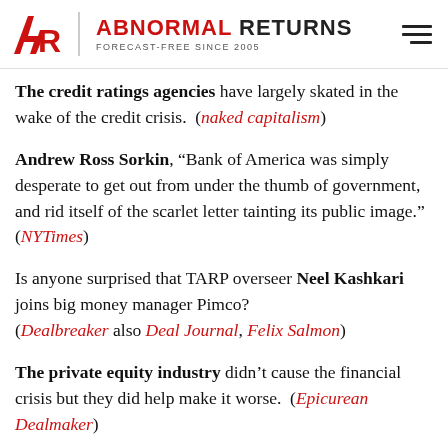ABNORMAL RETURNS — FORECAST-FREE SINCE 2005
The credit ratings agencies have largely skated in the wake of the credit crisis. (naked capitalism)
Andrew Ross Sorkin, “Bank of America was simply desperate to get out from under the thumb of government, and rid itself of the scarlet letter tainting its public image.” (NYTimes)
Is anyone surprised that TARP overseer Neel Kashkari joins big money manager Pimco? (Dealbreaker also Deal Journal, Felix Salmon)
The private equity industry didn’t cause the financial crisis but they did help make it worse. (Epicurean Dealmaker)